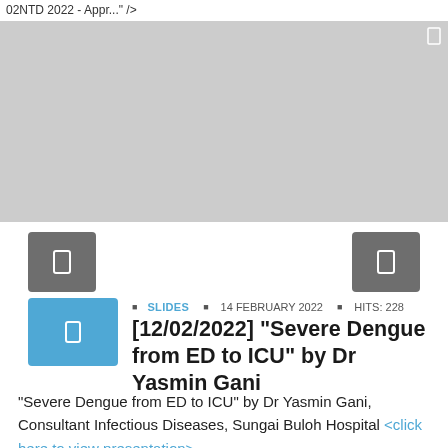02NTD 2022 - Appr..." />
[Figure (other): Gray banner area representing a media/slideshow player placeholder]
[Figure (other): Blue thumbnail button with rectangle icon on the left]
SLIDES  14 FEBRUARY 2022  HITS: 228
[12/02/2022] "Severe Dengue from ED to ICU" by Dr Yasmin Gani
"Severe Dengue from ED to ICU" by Dr Yasmin Gani, Consultant Infectious Diseases, Sungai Buloh Hospital <click here to view presentation>